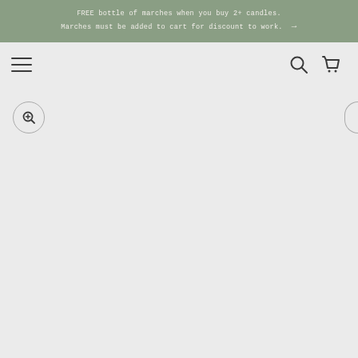FREE bottle of marches when you buy 2+ candles. Marches must be added to cart for discount to work. →
[Figure (screenshot): Navigation bar with hamburger menu icon on left, search icon and cart icon on right, on a light gray background]
[Figure (screenshot): Product image area with a circular zoom/magnify button on the lower left and a partial circular button on the right edge, on a light gray background]